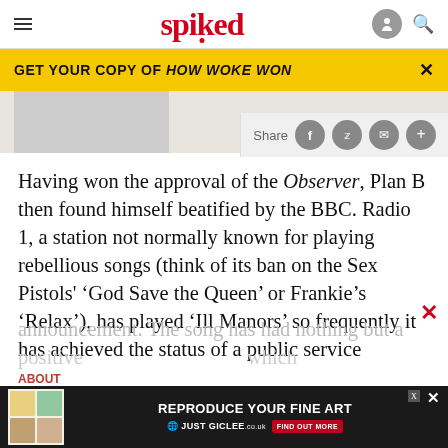spiked
GET YOUR COPY OF HOW WOKE WON
[Figure (screenshot): Share buttons bar with Facebook, Twitter, email and plus icons on a light grey background]
Having won the approval of the Observer, Plan B then found himself beatified by the BBC. Radio 1, a station not normally known for playing rebellious songs (think of its ban on the Sex Pistols' ‘God Save the Queen’ or Frankie’s ‘Relax’), has played ‘Ill Manors’ so frequently it has achieved the status of a public service announcement. The song has had nothing but a positive...
[Figure (screenshot): Advertisement banner: REPRODUCE YOUR FINE ART JUST GICLEE with Find Out More button]